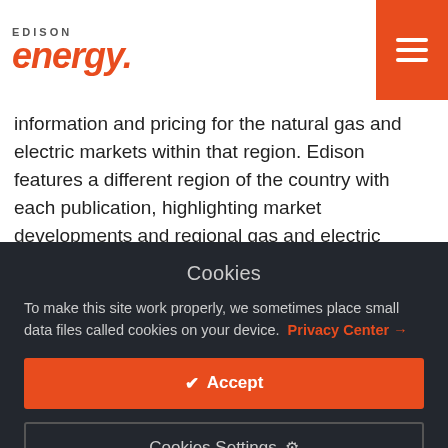EDISON energy.
information and pricing for the natural gas and electric markets within that region. Edison features a different region of the country with each publication, highlighting market developments and regional gas and electric prices. This month's issue focuses on the natural gas Southwest
Cookies
To make this site work properly, we sometimes place small data files called cookies on your device. Privacy Center →
✔  Accept
Cookies Settings  ⚙